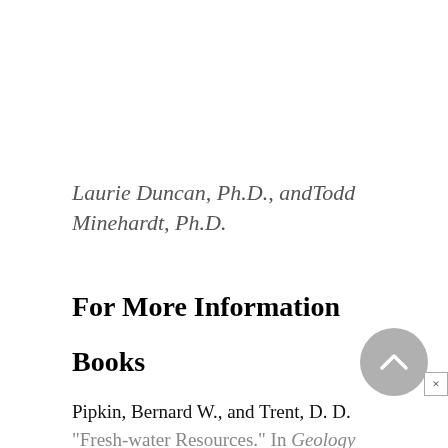Laurie Duncan, Ph.D., andTodd Minehardt, Ph.D.
For More Information
Books
Pipkin, Bernard W., and Trent, D. D.
"Fresh-water Resources." In Geology and the Environment. Pacific Gove...